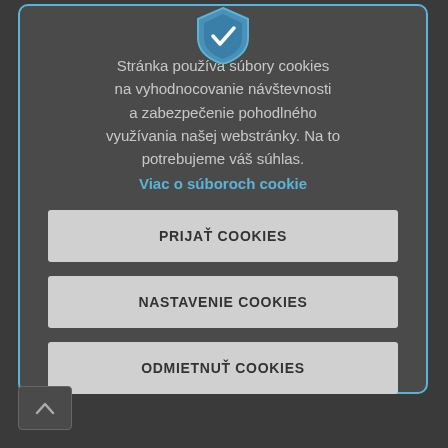[Figure (screenshot): Cookie consent dialog box with a blue shield icon at top, descriptive text in Slovak, a blue link, and three buttons: PRIJAŤ COOKIES, NASTAVENIE COOKIES, ODMIETNUŤ COOKIES]
Stránka používa súbory cookies na vyhodnocovanie návštevnosti a zabezpečenie pohodlného využívania našej webstránky. Na to potrebujeme váš súhlas.
Viac o súboroch cookie
PRIJAŤ COOKIES
NASTAVENIE COOKIES
ODMIETNUŤ COOKIES